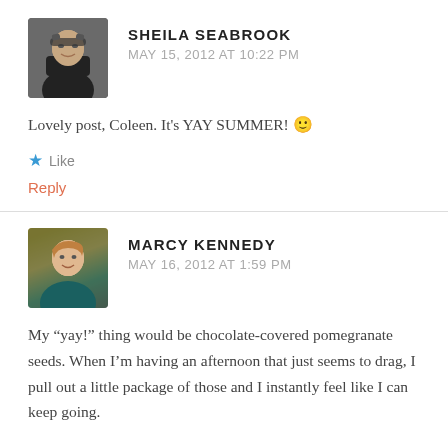SHEILA SEABROOK
MAY 15, 2012 AT 10:22 PM
Lovely post, Coleen. It's YAY SUMMER! 🙂
Like
Reply
MARCY KENNEDY
MAY 16, 2012 AT 1:59 PM
My "yay!" thing would be chocolate-covered pomegranate seeds. When I'm having an afternoon that just seems to drag, I pull out a little package of those and I instantly feel like I can keep going.